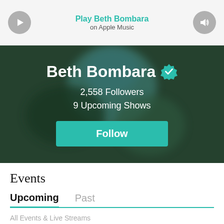[Figure (screenshot): Play Beth Bombara on Apple Music bar with play button and sound button]
[Figure (photo): Beth Bombara artist banner with blurred photo background, verified badge, follower count, upcoming shows, and Follow button]
Events
Upcoming  Past
All Events & Live Streams